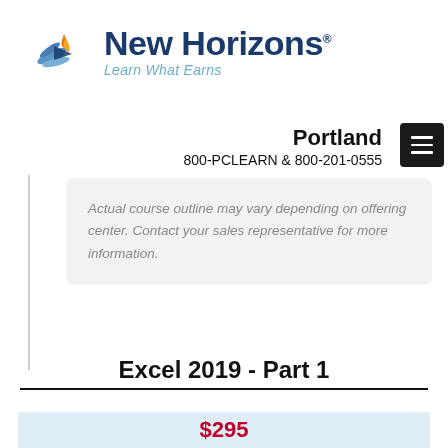[Figure (logo): New Horizons logo with stylized bird/wing graphic in blue and orange, company name 'New Horizons' in dark blue bold text, tagline 'Learn What Earns' in light blue italic]
Portland
800-PCLEARN  & 800-201-0555
Actual course outline may vary depending on offering center. Contact your sales representative for more information.
Excel 2019 - Part 1
$295